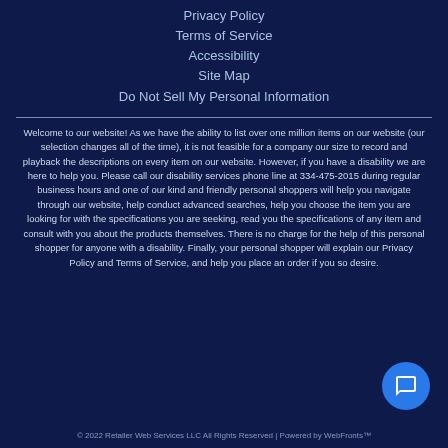Privacy Policy
Terms of Service
Accessibility
Site Map
Do Not Sell My Personal Information
Welcome to our website! As we have the ability to list over one million items on our website (our selection changes all of the time), it is not feasible for a company our size to record and playback the descriptions on every item on our website. However, if you have a disability we are here to help you. Please call our disability services phone line at 334-475-2015 during regular business hours and one of our kind and friendly personal shoppers will help you navigate through our website, help conduct advanced searches, help you choose the item you are looking for with the specifications you are seeking, read you the specifications of any item and consult with you about the products themselves. There is no charge for the help of this personal shopper for anyone with a disability. Finally, your personal shopper will explain our Privacy Policy and Terms of Service, and help you place an order if you so desire.
© 2022 Retailer Web Services LLC All Rights Reserved | Powered by WebFronts™